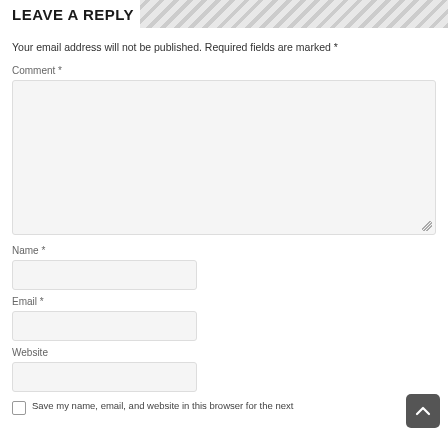LEAVE A REPLY
Your email address will not be published. Required fields are marked *
Comment *
[Figure (other): Comment text area input field (large, empty)]
Name *
[Figure (other): Name text input field]
Email *
[Figure (other): Email text input field]
Website
[Figure (other): Website text input field]
Save my name, email, and website in this browser for the next